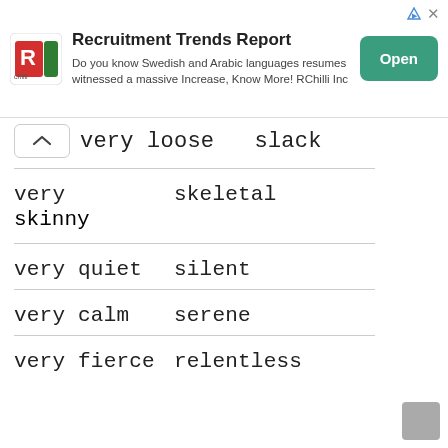[Figure (other): RChilli advertisement banner with logo, title 'Recruitment Trends Report', body text, and green Open button]
very loose   slack
very   skeletal
skinny
very quiet   silent
very calm   serene
very fierce   relentless